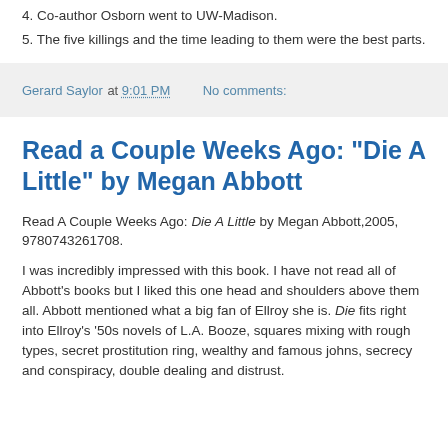4. Co-author Osborn went to UW-Madison.
5. The five killings and the time leading to them were the best parts.
Gerard Saylor at 9:01 PM   No comments:
Read a Couple Weeks Ago: "Die A Little" by Megan Abbott
Read A Couple Weeks Ago: Die A Little by Megan Abbott,2005, 9780743261708.
I was incredibly impressed with this book. I have not read all of Abbott's books but I liked this one head and shoulders above them all. Abbott mentioned what a big fan of Ellroy she is. Die fits right into Ellroy's '50s novels of L.A. Booze, squares mixing with rough types, secret prostitution ring, wealthy and famous johns, secrecy and conspiracy, double dealing and distrust.